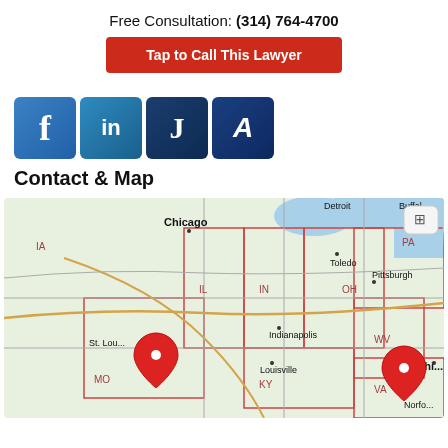Free Consultation: (314) 764-4700
Tap to Call This Lawyer
[Figure (logo): Social media icons: Facebook, LinkedIn, Justia, Avvo]
Contact & Map
[Figure (map): Map showing Midwest/Eastern US with red location pins near St. Louis, MO and Virginia area. Cities visible: Chicago, Detroit, Toledo, Indianapolis, Louisville, Pittsburgh, St. Louis, Washington. States: IA, IL, IN, OH, PA, MO, KY, WV, VA.]